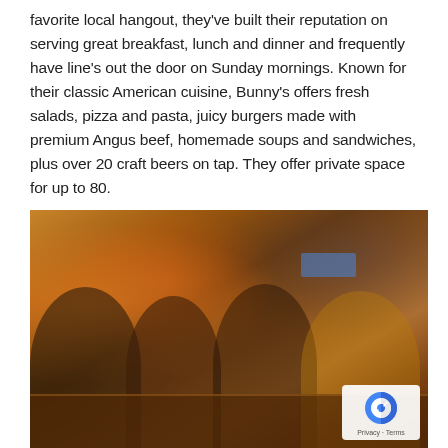favorite local hangout, they've built their reputation on serving great breakfast, lunch and dinner and frequently have line's out the door on Sunday mornings. Known for their classic American cuisine, Bunny's offers fresh salads, pizza and pasta, juicy burgers made with premium Angus beef, homemade soups and sandwiches, plus over 20 craft beers on tap. They offer private space for up to 80.
[Figure (photo): Four women toasting cocktails at a restaurant bar table, warm ambient lighting, bar area visible in background with TV screen and liquor bottles, privacy/reCAPTCHA badge in bottom-right corner]